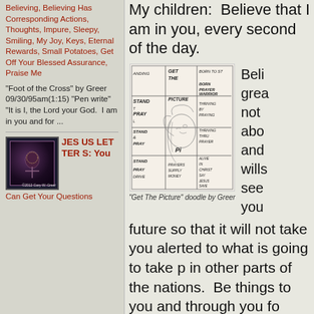Believing, Believing Has Corresponding Actions, Thoughts, Impure, Sleepy, Smiling, My Joy, Keys, Eternal Rewards, Small Potatoes, Get Off Your Blessed Assurance, Praise Me
"Foot of the Cross" by Greer 09/30/95am(1:15) "Pen write" "It is I, the Lord your God.  I am in you and for ...
[Figure (illustration): Small image of Jesus/cross figure with dark background, sidebar book/letter cover image]
JESUS LETTERS: You Can Get Your Questions
My children:  Believe that I am in you, every second of the day.
[Figure (illustration): Hand-drawn doodle sketch labeled 'Get The Picture' by Greer, showing a face in profile with handwritten notes including: ANDING, GET THE PICTURE, BORN TO ST, STAND, BORN PRAYER WARRIOR, PRAY, THRIVING BY PRAYING, STAND & PRAY, THRIVING THRU PRAYER, STAND, ALIVE IN CHRIST, PRAY DRIVE, PRAYERS SUPPLY MONEY, SAY JESUS SAVE]
"Get The Picture" doodle by Greer
Beli grea not abo and wills see you future so that it will not take you alerted to what is going to take p in other parts of the nations.  Be things to you and through you fo Christ.
Let My people know that I am a that I will speak to them and i